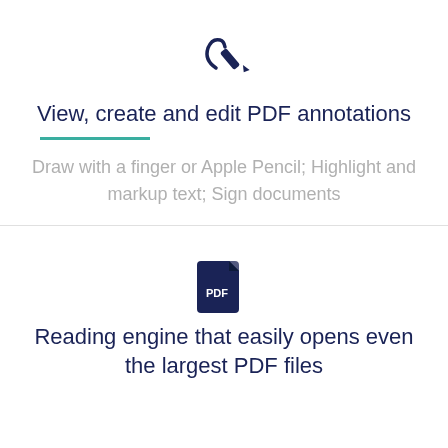[Figure (illustration): Icon of a hand with pencil/stylus writing or annotating]
View, create and edit PDF annotations
Draw with a finger or Apple Pencil; Highlight and markup text; Sign documents
[Figure (illustration): PDF file icon with 'PDF' label]
Reading engine that easily opens even the largest PDF files